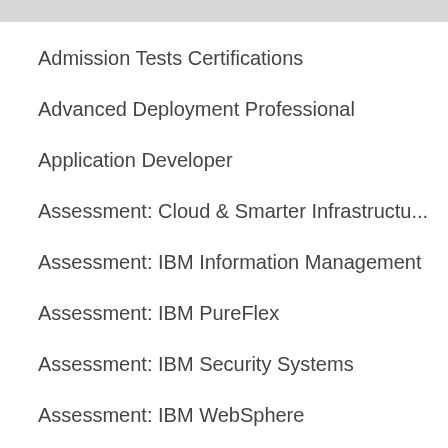Admission Tests Certifications
Advanced Deployment Professional
Application Developer
Assessment: Cloud & Smarter Infrastructu...
Assessment: IBM Information Management
Assessment: IBM PureFlex
Assessment: IBM Security Systems
Assessment: IBM WebSphere
Assessment: Retail Store Solutions
Business Analyst